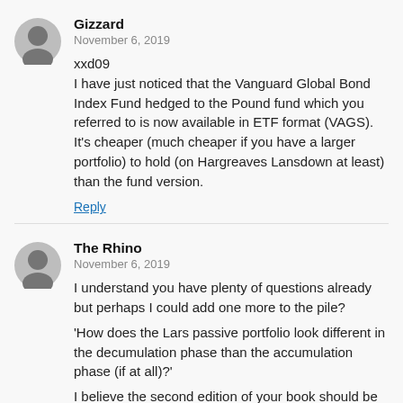Gizzard
November 6, 2019

xxd09
I have just noticed that the Vanguard Global Bond Index Fund hedged to the Pound fund which you referred to is now available in ETF format (VAGS). It's cheaper (much cheaper if you have a larger portfolio) to hold (on Hargreaves Lansdown at least) than the fund version.

Reply
The Rhino
November 6, 2019

I understand you have plenty of questions already but perhaps I could add one more to the pile?

'How does the Lars passive portfolio look different in the decumulation phase than the accumulation phase (if at all)?'

I believe the second edition of your book should be arriving on my doorstep today along with McClung and Okusanya. Some autumnal reading to keep me out of mischief!